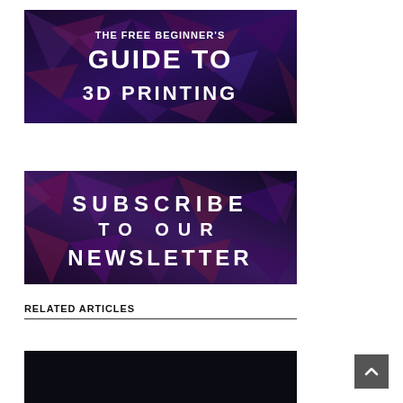[Figure (illustration): Dark geometric polygon background banner with white bold text reading 'THE FREE BEGINNER'S GUIDE TO 3D PRINTING']
[Figure (illustration): Dark geometric polygon background banner with white bold text reading 'SUBSCRIBE TO OUR NEWSLETTER']
RELATED ARTICLES
[Figure (photo): Dark/black image at bottom of page, partial view]